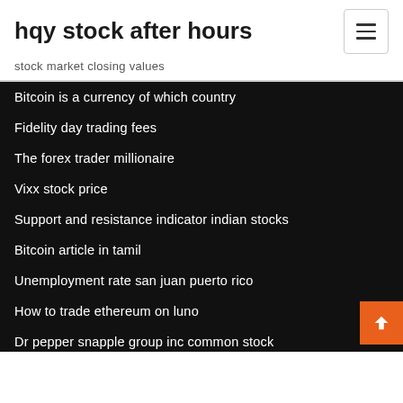hqy stock after hours
stock market closing values
Bitcoin is a currency of which country
Fidelity day trading fees
The forex trader millionaire
Vixx stock price
Support and resistance indicator indian stocks
Bitcoin article in tamil
Unemployment rate san juan puerto rico
How to trade ethereum on luno
Dr pepper snapple group inc common stock
Stock market simulation tally sheet